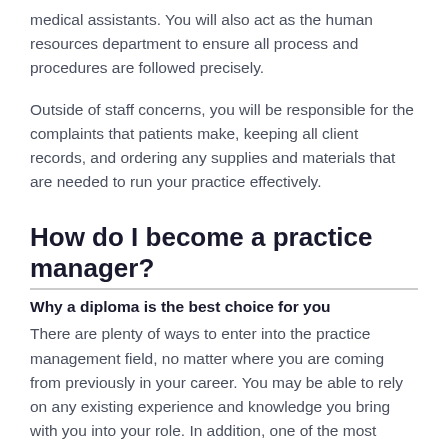medical assistants. You will also act as the human resources department to ensure all process and procedures are followed precisely.
Outside of staff concerns, you will be responsible for the complaints that patients make, keeping all client records, and ordering any supplies and materials that are needed to run your practice effectively.
How do I become a practice manager?
Why a diploma is the best choice for you
There are plenty of ways to enter into the practice management field, no matter where you are coming from previously in your career. You may be able to rely on any existing experience and knowledge you bring with you into your role. In addition, one of the most important things to consider is whether or not you will need a qualification to